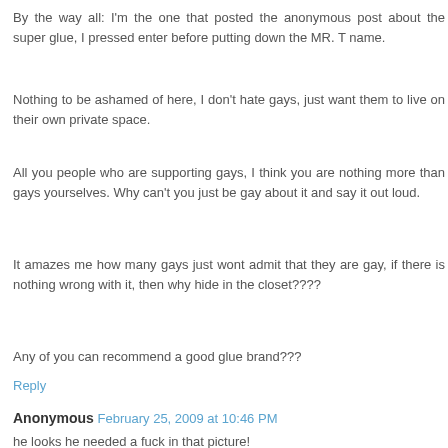By the way all: I'm the one that posted the anonymous post about the super glue, I pressed enter before putting down the MR. T name.
Nothing to be ashamed of here, I don't hate gays, just want them to live on their own private space.
All you people who are supporting gays, I think you are nothing more than gays yourselves. Why can't you just be gay about it and say it out loud.
It amazes me how many gays just wont admit that they are gay, if there is nothing wrong with it, then why hide in the closet????
Any of you can recommend a good glue brand???
Reply
Anonymous February 25, 2009 at 10:46 PM
he looks he needed a fuck in that picture!